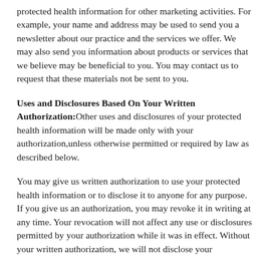protected health information for other marketing activities. For example, your name and address may be used to send you a newsletter about our practice and the services we offer. We may also send you information about products or services that we believe may be beneficial to you. You may contact us to request that these materials not be sent to you.
Uses and Disclosures Based On Your Written Authorization:Other uses and disclosures of your protected health information will be made only with your authorization,unless otherwise permitted or required by law as described below.
You may give us written authorization to use your protected health information or to disclose it to anyone for any purpose. If you give us an authorization, you may revoke it in writing at any time. Your revocation will not affect any use or disclosures permitted by your authorization while it was in effect. Without your written authorization, we will not disclose your